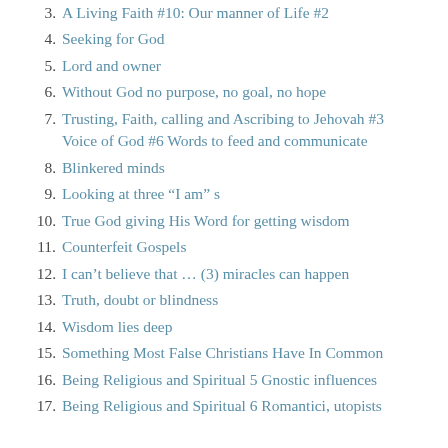3. A Living Faith #10: Our manner of Life #2
4. Seeking for God
5. Lord and owner
6. Without God no purpose, no goal, no hope
7. Trusting, Faith, calling and Ascribing to Jehovah #3 Voice of God #6 Words to feed and communicate
8. Blinkered minds
9. Looking at three “I am” s
10. True God giving His Word for getting wisdom
11. Counterfeit Gospels
12. I can’t believe that … (3) miracles can happen
13. Truth, doubt or blindness
14. Wisdom lies deep
15. Something Most False Christians Have In Common
16. Being Religious and Spiritual 5 Gnostic influences
17. Being Religious and Spiritual 6 Romantici, utopists